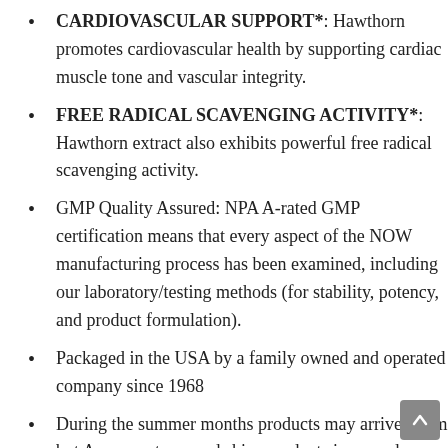CARDIOVASCULAR SUPPORT*: Hawthorn promotes cardiovascular health by supporting cardiac muscle tone and vascular integrity.
FREE RADICAL SCAVENGING ACTIVITY*: Hawthorn extract also exhibits powerful free radical scavenging activity.
GMP Quality Assured: NPA A-rated GMP certification means that every aspect of the NOW manufacturing process has been examined, including our laboratory/testing methods (for stability, potency, and product formulation).
Packaged in the USA by a family owned and operated company since 1968
During the summer months products may arrive warm but Amazon stores and ships products in accordance with manufacturers'